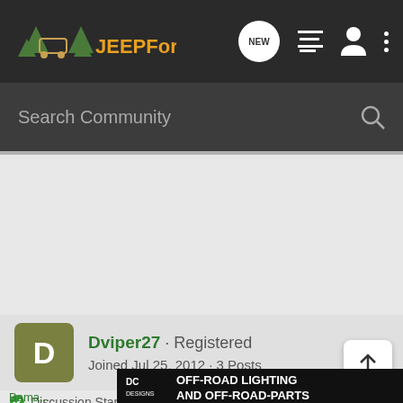JEEPForum
Search Community
Dviper27 · Registered
Joined Jul 25, 2012 · 3 Posts
Discussion Starter · #7 · Jul 25, 2012
[Figure (screenshot): DC Designs ad banner - OFF-ROAD LIGHTING AND OFF-ROAD-PARTS]